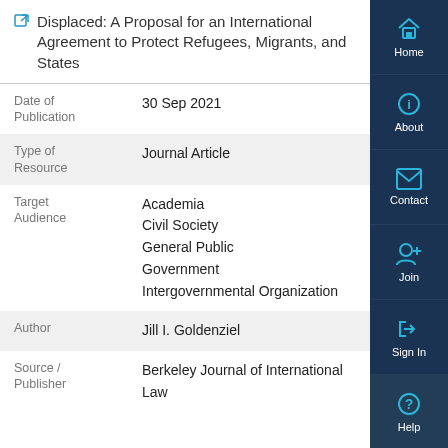Displaced: A Proposal for an International Agreement to Protect Refugees, Migrants, and States
| Field | Value |
| --- | --- |
| Date of Publication | 30 Sep 2021 |
| Type of Resource | Journal Article |
| Target Audience | Academia
Civil Society
General Public
Government
Intergovernmental Organization |
| Author | Jill I. Goldenziel |
| Source / Publisher | Berkeley Journal of International Law |